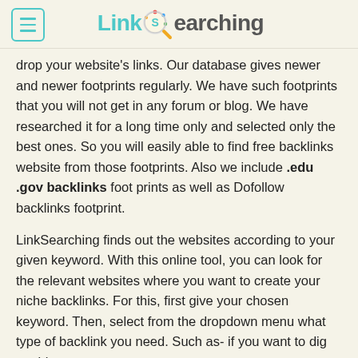LinkSearching
drop your website's links. Our database gives newer and newer footprints regularly. We have such footprints that you will not get in any forum or blog. We have researched it for a long time only and selected only the best ones. So you will easily able to find free backlinks website from those footprints. Also we include .edu .gov backlinks foot prints as well as Dofollow backlinks footprint.
LinkSearching finds out the websites according to your given keyword. With this online tool, you can look for the relevant websites where you want to create your niche backlinks. For this, first give your chosen keyword. Then, select from the dropdown menu what type of backlink you need. Such as- if you want to dig out blog